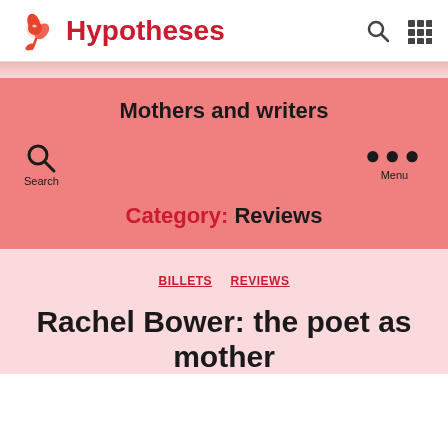Hypotheses
Mothers and writers
Category: Reviews
BILLETS  REVIEWS
Rachel Bower: the poet as mother